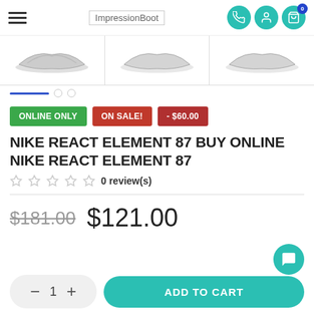ImpressionBoot
[Figure (photo): Three thumbnail images of Nike React Element 87 shoes shown in a horizontal strip with a blue active indicator below the first.]
ONLINE ONLY   ON SALE!   - $60.00
NIKE REACT ELEMENT 87 BUY ONLINE NIKE REACT ELEMENT 87
0 review(s)
$181.00  $121.00
- 1 +   ADD TO CART